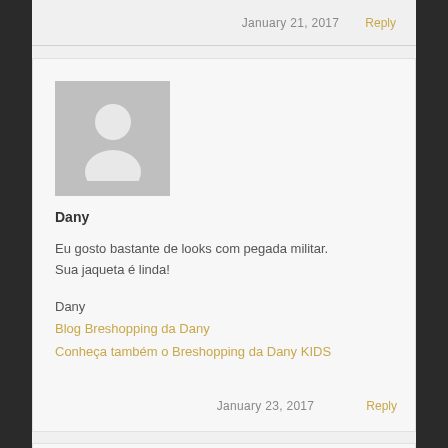January 21, 2017   Reply
[Figure (illustration): Grey placeholder avatar silhouette for user Dany]
Dany
Eu gosto bastante de looks com pegada militar.
Sua jaqueta é linda!

Dany
Blog Breshopping da Dany
Conheça também o Breshopping da Dany KIDS
January 23, 2017   Reply
[Figure (illustration): Grey placeholder avatar silhouette for second user]